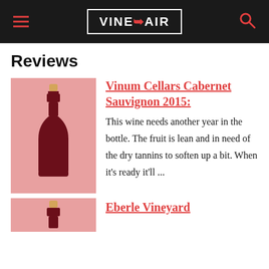VINEPAIR
Reviews
[Figure (illustration): Illustration of a dark red wine bottle on a pink/salmon background]
Vinum Cellars Cabernet Sauvignon 2015: This wine needs another year in the bottle. The fruit is lean and in need of the dry tannins to soften up a bit. When it's ready it'll ...
[Figure (illustration): Illustration of a dark red wine bottle on a pink/salmon background (partially visible)]
Eberle Vineyard